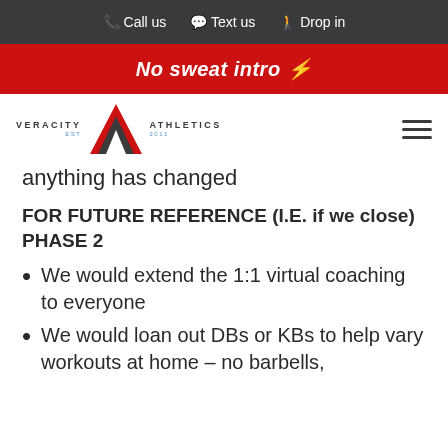📞 Call us  💬 Text us  🚶 Drop in
No sweat intro ⚡
[Figure (logo): Veracity Athletics logo with VA letter mark, EST 2011]
anything has changed
FOR FUTURE REFERENCE (I.E. if we close)
PHASE 2
We would extend the 1:1 virtual coaching to everyone
We would loan out DBs or KBs to help vary workouts at home – no barbells,